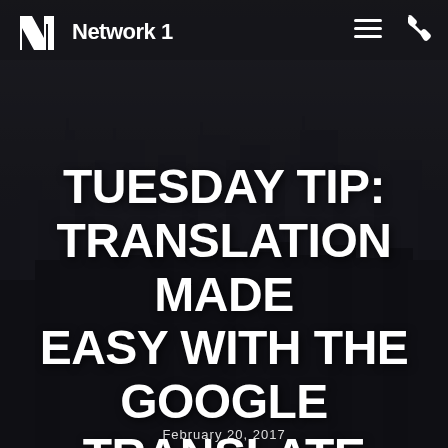[Figure (screenshot): Screenshot of Network 1 website with city skyline background. Dark overlay on top of city buildings photo. Header bar with Network 1 logo on left and hamburger menu and phone icons on right.]
Network 1
TUESDAY TIP: TRANSLATION MADE EASY WITH THE GOOGLE TRANSLATE APP
February 20, 2017